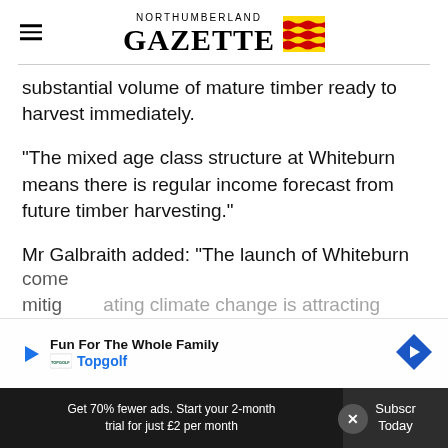NORTHUMBERLAND GAZETTE
substantial volume of mature timber ready to harvest immediately.
“The mixed age class structure at Whiteburn means there is regular income forecast from future timber harvesting.”
Mr Galbraith added: “The launch of Whiteburn come[s] ... mitigating climate change is attracting
[Figure (infographic): Advertisement banner for Topgolf: Fun For The Whole Family]
Get 70% fewer ads. Start your 2-month trial for just £2 per month
Subscribe Today